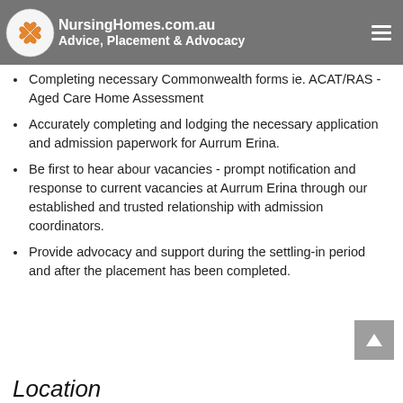Nursing Homes.com.au – Advice, Placement & Advocacy
Completing necessary Commonwealth forms ie. ACAT/RAS - Aged Care Home Assessment
Accurately completing and lodging the necessary application and admission paperwork for Aurrum Erina.
Be first to hear abour vacancies - prompt notification and response to current vacancies at Aurrum Erina through our established and trusted relationship with admission coordinators.
Provide advocacy and support during the settling-in period and after the placement has been completed.
Location